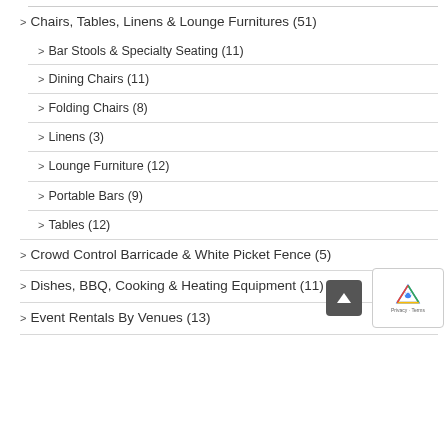Chairs, Tables, Linens & Lounge Furnitures (51)
Bar Stools & Specialty Seating (11)
Dining Chairs (11)
Folding Chairs (8)
Linens (3)
Lounge Furniture (12)
Portable Bars (9)
Tables (12)
Crowd Control Barricade & White Picket Fence (5)
Dishes, BBQ, Cooking & Heating Equipment (11)
Event Rentals By Venues (13)